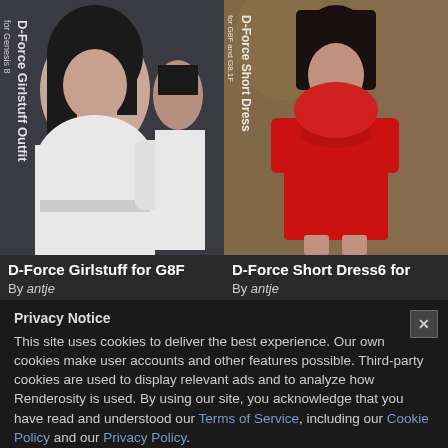[Figure (photo): D-Force Girlstuff Outfit for Genesis 8 Female product image showing a woman in a white one-shoulder outfit, with text overlay 'D-Force Girlstuff Outfit for Genesis 8']
D-Force Girlstuff for G8F
By antje
[Figure (photo): D-Force Short Dress6 for G8F and G8.1F product image showing a woman in a red short dress, with text overlay 'D-Force Short Dress for G8F and G8.1F']
D-Force Short Dress6 for
By antje
Privacy Notice
This site uses cookies to deliver the best experience. Our own cookies make user accounts and other features possible. Third-party cookies are used to display relevant ads and to analyze how Renderosity is used. By using our site, you acknowledge that you have read and understood our Terms of Service, including our Cookie Policy and our Privacy Policy.